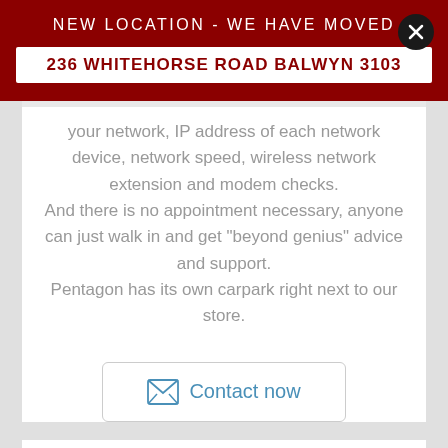NEW LOCATION - WE HAVE MOVED
236 WHITEHORSE ROAD BALWYN 3103
your network, IP address of each network device, network speed, wireless network extension and modem checks.
And there is no appointment necessary, anyone can just walk in and get "beyond genius" advice and support.
Pentagon has its own carpark right next to our store.
Contact now